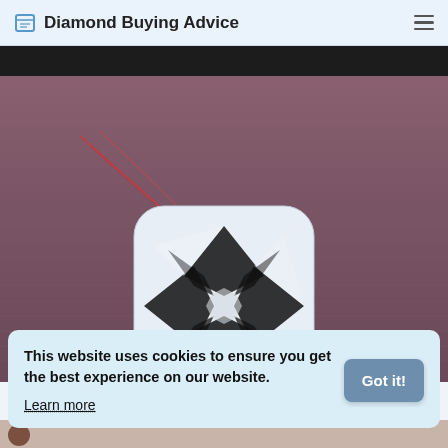Diamond Buying Advice
[Figure (photo): Close-up photograph of a cushion-cut diamond viewed from above, showing facet pattern with black arrow-shaped patterns. A red laser line is visible across the upper-left area. Background is brushed pinkish-mauve metal surface.]
This website uses cookies to ensure you get the best experience on our website. Learn more
[Figure (photo): Partial bottom strip showing beginning of another image]